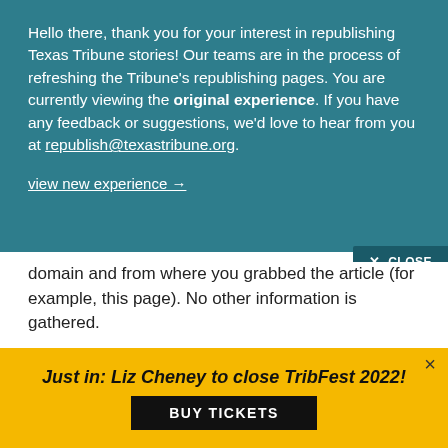Hello there, thank you for your interest in republishing Texas Tribune stories! Our teams are in the process of refreshing the Tribune's republishing pages. You are currently viewing the original experience. If you have any feedback or suggestions, we'd love to hear from you at republish@texastribune.org.
view new experience →
✕ CLOSE
domain and from where you grabbed the article (for example, this page). No other information is gathered.
<script async src="https://dot.texastribu
Just in: Liz Cheney to close TribFest 2022!
BUY TICKETS